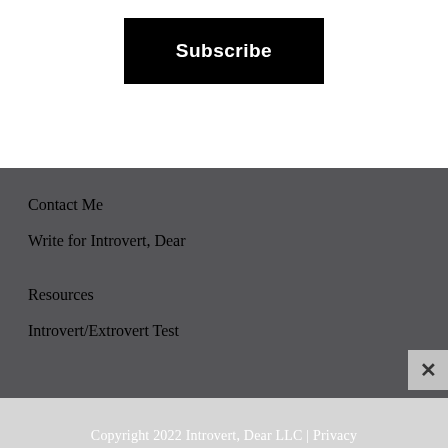[Figure (other): Black Subscribe button centered in white area]
Contact Me
Write for Introvert, Dear
Resources
Introvert/Extrovert Test
Copyright 2022 Introvert, Dear LLC | Privacy